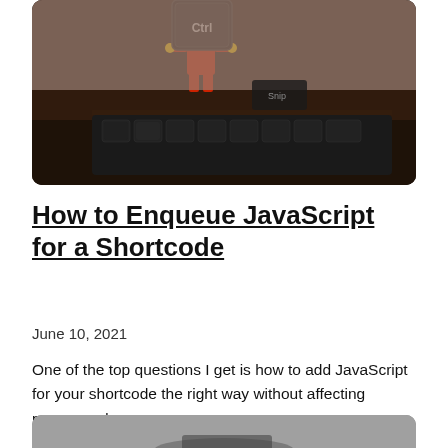[Figure (photo): A red LEGO figure holding a large Ctrl keyboard key, standing on a dark keyboard against a brown wooden surface background.]
How to Enqueue JavaScript for a Shortcode
June 10, 2021
One of the top questions I get is how to add JavaScript for your shortcode the right way without affecting pagespeed.
[Figure (photo): Partially visible photo at the bottom of the page, appears to show a dark object on a light textured surface.]